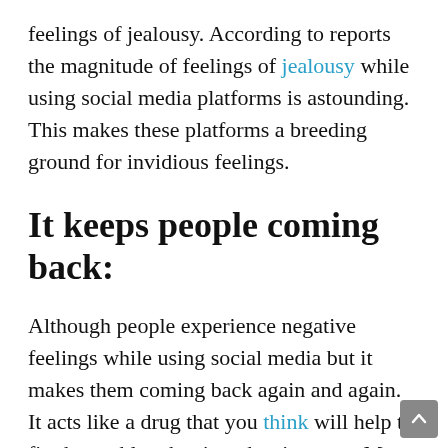feelings of jealousy. According to reports the magnitude of feelings of jealousy while using social media platforms is astounding. This makes these platforms a breeding ground for invidious feelings.
It keeps people coming back:
Although people experience negative feelings while using social media but it makes them coming back again and again. It acts like a drug that you think will help to fix the problem but it makes it worse. Most of the people feel like going on with it despite feeling sad and envious. This is